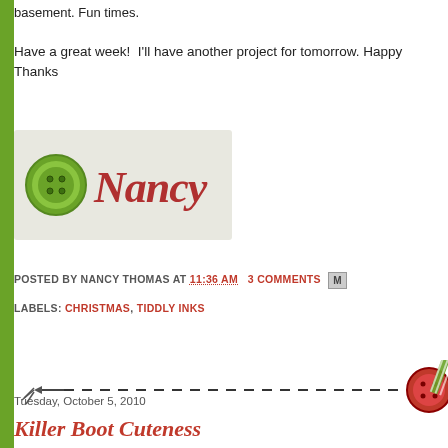basement. Fun times.
Have a great week!  I'll have another project for tomorrow. Happy Thanks
[Figure (illustration): Signature image showing 'Nancy' in red cursive script with a green button on a light gray/white background]
POSTED BY NANCY THOMAS AT 11:36 AM   3 COMMENTS  [Gmail icon]
LABELS: CHRISTMAS, TIDDLY INKS
[Figure (illustration): Decorative divider with a dashed line, tassel on left end and a red button with green striped ribbon on the right end]
Tuesday, October 5, 2010
Killer Boot Cuteness